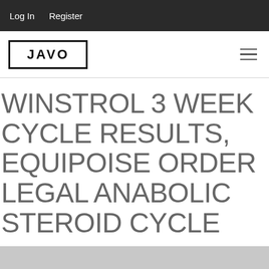Log In   Register
[Figure (logo): JAVO logo in bold uppercase letters inside a rectangular border]
WINSTROL 3 WEEK CYCLE RESULTS, EQUIPOISE ORDER LEGAL ANABOLIC STEROID CYCLE
[Figure (photo): Gray placeholder image area at the bottom of the page]